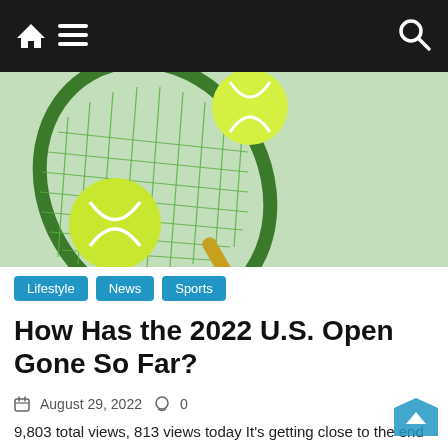Navigation bar with home icon, menu icon, and search icon
[Figure (photo): Tennis racket with yellow tennis balls on a light green background]
Lifestyle   News   Sports
How Has the 2022 U.S. Open Gone So Far?
August 29, 2022   0
9,803 total views, 813 views today It's getting close to the end of the first day of the U.S. Open, and so